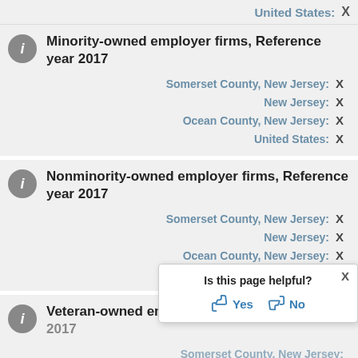United States: X
Minority-owned employer firms, Reference year 2017
Somerset County, New Jersey: X
New Jersey: X
Ocean County, New Jersey: X
United States: X
Nonminority-owned employer firms, Reference year 2017
Somerset County, New Jersey: X
New Jersey: X
Ocean County, New Jersey: X
United States: X
Veteran-owned employer firms, Reference year 2017
Somerset County, New Jersey:
Is this page helpful? Yes No